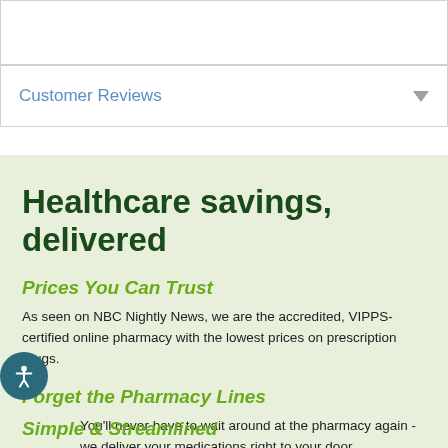Customer Reviews
Healthcare savings, delivered
Prices You Can Trust
As seen on NBC Nightly News, we are the accredited, VIPPS-certified online pharmacy with the lowest prices on prescription drugs.
Forget the Pharmacy Lines
You'll never have to wait around at the pharmacy again - we deliver your medications right to your door.
Simple & Streamlined